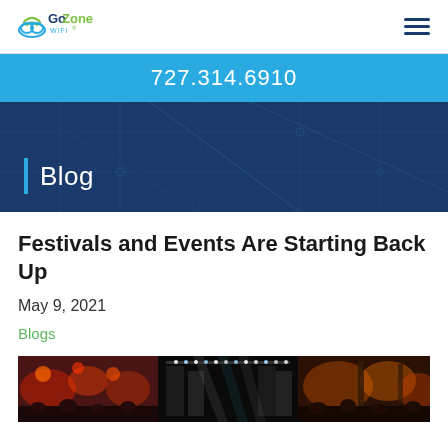[Figure (logo): GoZone WiFi logo with cloud and wifi signal icon]
727.314.6910
Blog
Festivals and Events Are Starting Back Up
May 9, 2021
Blogs
[Figure (photo): Festival stage photo showing colorful lights and a crowd at an outdoor music event]